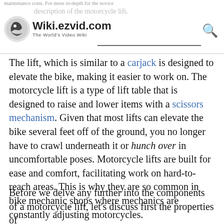Wiki.ezvid.com — The World's Video Wiki
The lift, which is similar to a carjack is designed to elevate the bike, making it easier to work on. The motorcycle lift is a type of lift table that is designed to raise and lower items with a scissors mechanism. Given that most lifts can elevate the bike several feet off of the ground, you no longer have to crawl underneath it or hunch over in uncomfortable poses. Motorcycle lifts are built for ease and comfort, facilitating work on hard-to-reach areas. This is why they are so common in bike mechanic shops where mechanics are constantly adjusting motorcycles.
Before we delve any further into the components of a motorcycle lift, let's discuss first the properties of